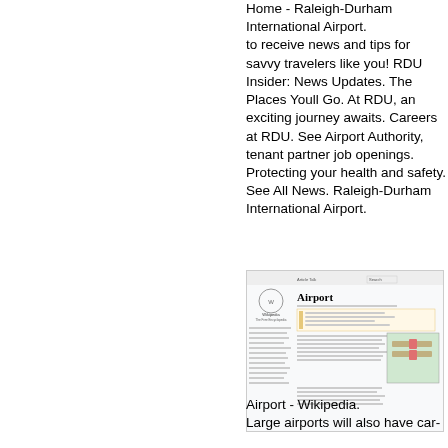Home - Raleigh-Durham International Airport. to receive news and tips for savvy travelers like you! RDU Insider: News Updates. The Places Youll Go. At RDU, an exciting journey awaits. Careers at RDU. See Airport Authority, tenant partner job openings. Protecting your health and safety. See All News. Raleigh-Durham International Airport.
[Figure (screenshot): Screenshot of the Wikipedia article page for 'Airport', showing the Wikipedia logo, navigation sidebar, article title 'Airport', introduction text, and an airport diagram image.]
Airport - Wikipedia.
Large airports will also have car-